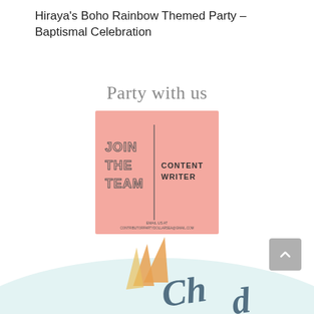Hiraya's Boho Rainbow Themed Party – Baptismal Celebration
Party with us
[Figure (infographic): Pink square banner reading 'JOIN THE TEAM | CONTENT WRITER' with email address at bottom: EMAIL US AT CONTRIBUTORPARTYDOLLARSEA@GMAIL.COM]
[Figure (illustration): Partial decorative illustration at bottom of page showing sun rays and cursive text logo]